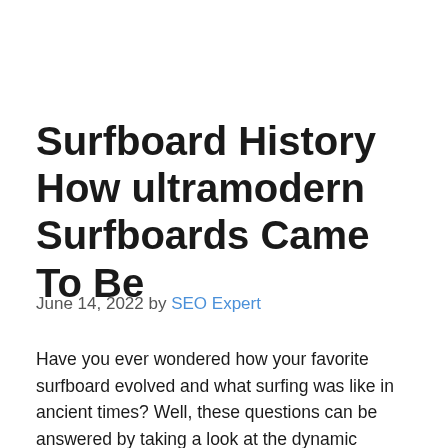Surfboard History How ultramodern Surfboards Came To Be
June 14, 2022 by SEO Expert
Have you ever wondered how your favorite surfboard evolved and what surfing was like in ancient times? Well, these questions can be answered by taking a look at the dynamic history of the surfboard.